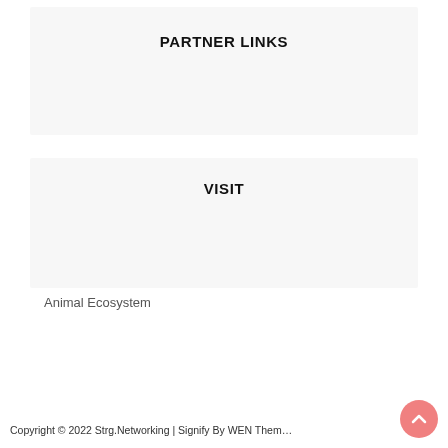PARTNER LINKS
VISIT
Animal Ecosystem
Copyright © 2022 Strg.Networking | Signify By WEN Them…